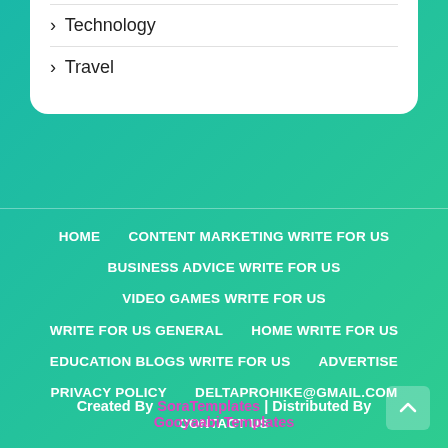› Technology
› Travel
HOME   CONTENT MARKETING WRITE FOR US   BUSINESS ADVICE WRITE FOR US   VIDEO GAMES WRITE FOR US   WRITE FOR US GENERAL   HOME WRITE FOR US   EDUCATION BLOGS WRITE FOR US   ADVERTISE   PRIVACY POLICY   DELTAPROHIKE@GMAIL.COM   CONTACT US
Created By SoraTemplates | Distributed By Gooyaabi Templates